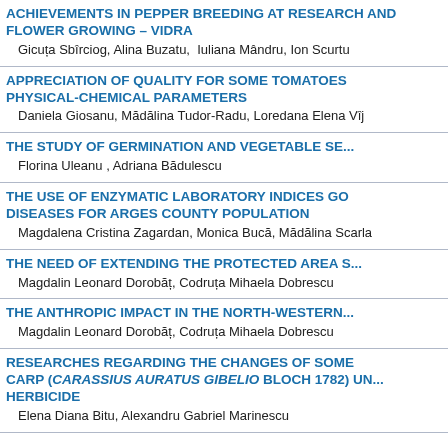ACHIEVEMENTS IN PEPPER BREEDING AT RESEARCH AND FLOWER GROWING – VIDRA
Gicuța Sbîrciog, Alina Buzatu, Iuliana Mândru, Ion Scurtu
APPRECIATION OF QUALITY FOR SOME TOMATOES PHYSICAL-CHEMICAL PARAMETERS
Daniela Giosanu, Mădălina Tudor-Radu, Loredana Elena Vîj
THE STUDY OF GERMINATION AND VEGETABLE SE
Florina Uleanu , Adriana Bădulescu
THE USE OF ENZYMATIC LABORATORY INDICES GO DISEASES FOR ARGES COUNTY POPULATION
Magdalena Cristina Zagardan, Monica Bucă, Mădălina Scarla
THE NEED OF EXTENDING THE PROTECTED AREA S
Magdalin Leonard Dorobăț, Codruța Mihaela Dobrescu
THE ANTHROPIC IMPACT IN THE NORTH-WESTERN
Magdalin Leonard Dorobăț, Codruța Mihaela Dobrescu
RESEARCHES REGARDING THE CHANGES OF SOME CARP (CARASSIUS AURATUS GIBELIO BLOCH 1782) UN HERBICIDE
Elena Diana Bitu, Alexandru Gabriel Marinescu